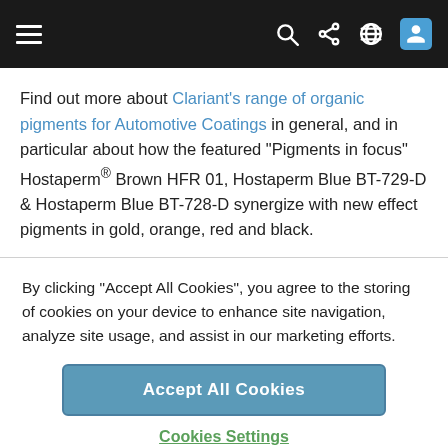Navigation bar with hamburger menu, search, share, globe, and user icons
Find out more about Clariant's range of organic pigments for Automotive Coatings in general, and in particular about how the featured “Pigments in focus” Hostaperm® Brown HFR 01, Hostaperm Blue BT-729-D & Hostaperm Blue BT-728-D synergize with new effect pigments in gold, orange, red and black.
By clicking “Accept All Cookies”, you agree to the storing of cookies on your device to enhance site navigation, analyze site usage, and assist in our marketing efforts.
Accept All Cookies
Cookies Settings